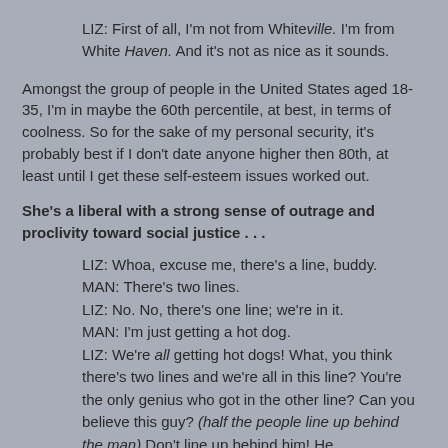LIZ: First of all, I'm not from Whiteville. I'm from White Haven. And it's not as nice as it sounds.
Amongst the group of people in the United States aged 18-35, I'm in maybe the 60th percentile, at best, in terms of coolness. So for the sake of my personal security, it's probably best if I don't date anyone higher then 80th, at least until I get these self-esteem issues worked out.
She's a liberal with a strong sense of outrage and proclivity toward social justice . . .
LIZ: Whoa, excuse me, there's a line, buddy.
MAN: There's two lines.
LIZ: No. No, there's one line; we're in it.
MAN: I'm just getting a hot dog.
LIZ: We're all getting hot dogs! What, you think there's two lines and we're all in this line? You're the only genius who got in the other line? Can you believe this guy? (half the people line up behind the man) Don't line up behind him! He